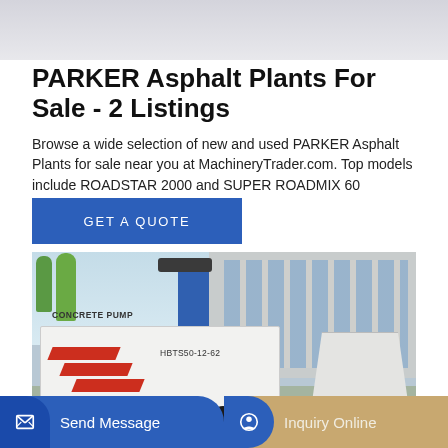[Figure (photo): Partial top image, light gray/blue background]
PARKER Asphalt Plants For Sale - 2 Listings
Browse a wide selection of new and used PARKER Asphalt Plants for sale near you at MachineryTrader.com. Top models include ROADSTAR 2000 and SUPER ROADMIX 60
GET A QUOTE
[Figure (photo): Photo of a white concrete pump machine labeled CONCRETE PUMP, model HBTS50-12-62, with red diagonal stripes, parked outdoors near a building]
Send Message
Inquiry Online